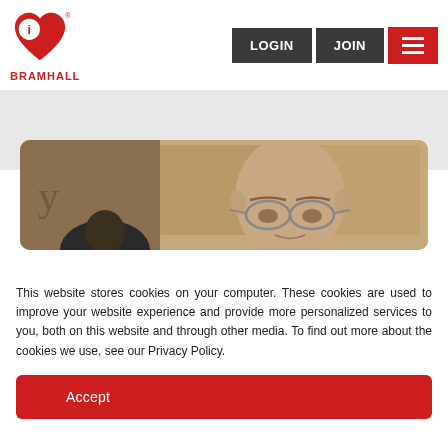[Figure (logo): Bramhall logo: red heart with letter i, and red text BRAMHALL below]
[Figure (screenshot): Navigation buttons: LOGIN (dark), JOIN (dark), hamburger menu (red)]
[Figure (photo): Cropped photo of an elderly bald man with glasses, warm brown background]
This website stores cookies on your computer. These cookies are used to improve your website experience and provide more personalized services to you, both on this website and through other media. To find out more about the cookies we use, see our Privacy Policy.
Accept